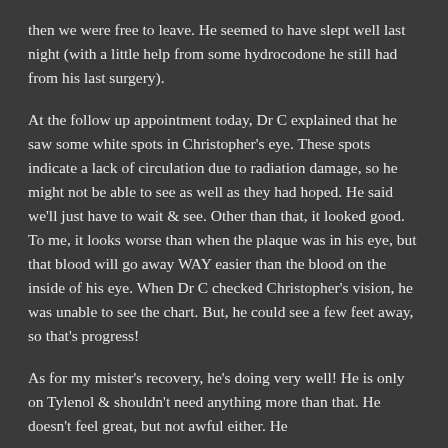then we were free to leave. He seemed to have slept well last night (with a little help from some hydrocodone he still had from his last surgery).
At the follow up appointment today, Dr C explained that he saw some white spots in Christopher's eye. These spots indicate a lack of circulation due to radiation damage, so he might not be able to see as well as they had hoped. He said we'll just have to wait & see. Other than that, it looked good. To me, it looks worse than when the plaque was in his eye, but that blood will go away WAY easier than the blood on the inside of his eye. When Dr C checked Christopher's vision, he was unable to see the chart. But, he could see a few feet away, so that's progress!
As for my mister's recovery, he's doing very well! He is only on Tylenol & shouldn't need anything more than that. He doesn't feel great, but not awful either. He